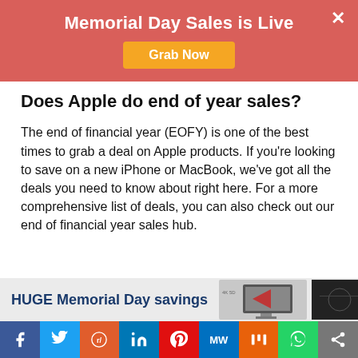Memorial Day Sales is Live
Grab Now
Does Apple do end of year sales?
The end of financial year (EOFY) is one of the best times to grab a deal on Apple products. If you're looking to save on a new iPhone or MacBook, we've got all the deals you need to know about right here. For a more comprehensive list of deals, you can also check out our end of financial year sales hub.
[Figure (infographic): HUGE Memorial Day savings advertisement banner with laptop/monitor image and dark background image on right]
Social sharing bar: Facebook, Twitter, Reddit, LinkedIn, Pinterest, MW, Mix, WhatsApp, Share